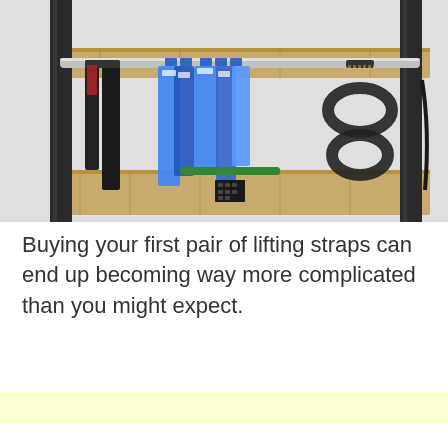[Figure (photo): A rack or stand made of dark metal uprights and wooden horizontal bars, holding various lifting straps hanging from a metal bar. Black lifting straps hang on the left side, blue straps hang in the center, and black figure-8 straps hang on the right. The background is a light gray/white wall.]
Buying your first pair of lifting straps can end up becoming way more complicated than you might expect.